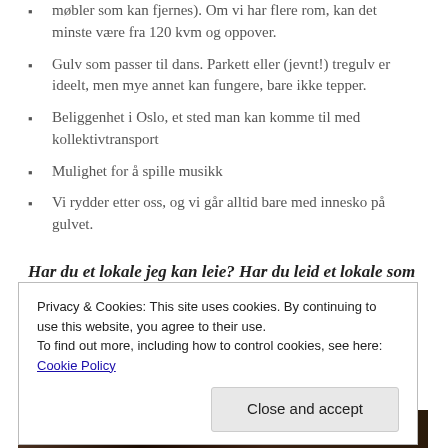møbler som kan fjernes). Om vi har flere rom, kan det minste være fra 120 kvm og oppover.
Gulv som passer til dans. Parkett eller (jevnt!) tregulv er ideelt, men mye annet kan fungere, bare ikke tepper.
Beliggenhet i Oslo, et sted man kan komme til med kollektivtransport
Mulighet for å spille musikk
Vi rydder etter oss, og vi går alltid bare med innesko på gulvet.
Har du et lokale jeg kan leie? Har du leid et lokale som du tror jeg også kan bruke?
Privacy & Cookies: This site uses cookies. By continuing to use this website, you agree to their use.
To find out more, including how to control cookies, see here: Cookie Policy
[Figure (photo): Dark strip at the bottom, appears to be a partial photo of a person]